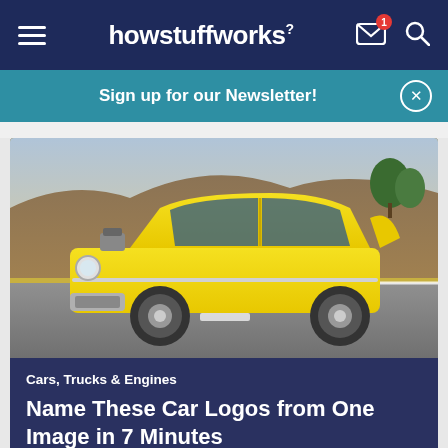howstuffworks
Sign up for our Newsletter!
[Figure (photo): Yellow classic 1957 Chevrolet Bel Air hot rod driving on a road with a hillside in the background]
Cars, Trucks & Engines
Name These Car Logos from One Image in 7 Minutes